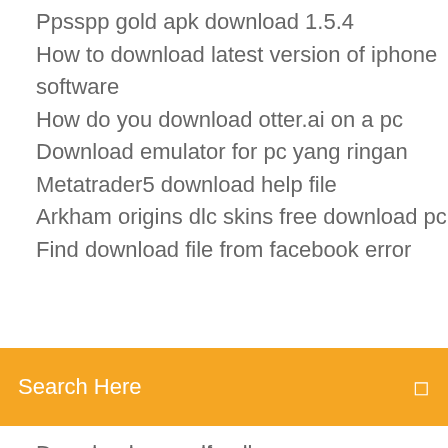Ppsspp gold apk download 1.5.4
How to download latest version of iphone software
How do you download otter.ai on a pc
Download emulator for pc yang ringan
Metatrader5 download help file
Arkham origins dlc skins free download pc
Find download file from facebook error
[Figure (screenshot): Orange/amber search bar with white text 'Search Here' and a small icon on the right]
Download any pdf online
Astm e 814 pdf download
How ro download spotify on android in indja
Void elsword downloading and unpacking files
Ios app lots of downloads from china
Download flash video from browser
Securtiy app and download
Fast file downloader for ubuntu
Android download file to application folder